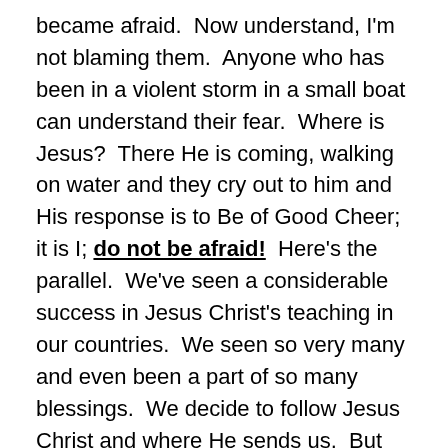became afraid.  Now understand, I'm not blaming them.  Anyone who has been in a violent storm in a small boat can understand their fear.  Where is Jesus?  There He is coming, walking on water and they cry out to him and His response is to Be of Good Cheer; it is I; do not be afraid!  Here's the parallel.  We've seen a considerable success in Jesus Christ's teaching in our countries.  We seen so very many and even been a part of so many blessings.  We decide to follow Jesus Christ and where He sends us.  But now the storm, in this case the world and its prince are rising.  The boat is starting to get tossed.  Some are even leaving the boat, not sure that it is the right vehicle to carry them to where they want to be.  What we must understand is Jesus Christ is still in control, He is walking with us, He is calling out to us be of good cheer and do not be afraid.

But Doug, what can we do with such meager numbers?